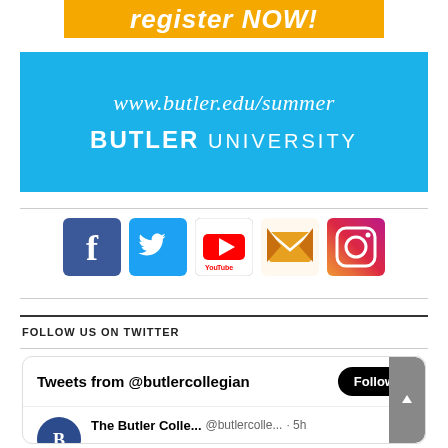[Figure (other): Yellow banner with 'register NOW!' text in white italic bold font]
[Figure (other): Blue banner with Butler University website URL and logo: www.butler.edu/summer and BUTLER UNIVERSITY]
[Figure (other): Row of five social media icons: Facebook, Twitter, YouTube, Email, Instagram]
FOLLOW US ON TWITTER
[Figure (screenshot): Twitter widget showing 'Tweets from @butlercollegian' with a Follow button and a tweet from The Butler Colle... @butlercolle... · 5h]